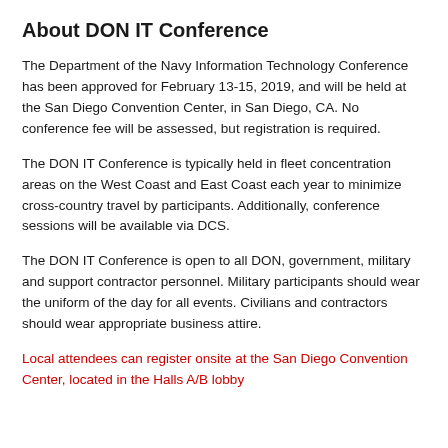About DON IT Conference
The Department of the Navy Information Technology Conference has been approved for February 13-15, 2019, and will be held at the San Diego Convention Center, in San Diego, CA. No conference fee will be assessed, but registration is required.
The DON IT Conference is typically held in fleet concentration areas on the West Coast and East Coast each year to minimize cross-country travel by participants. Additionally, conference sessions will be available via DCS.
The DON IT Conference is open to all DON, government, military and support contractor personnel. Military participants should wear the uniform of the day for all events. Civilians and contractors should wear appropriate business attire.
Local attendees can register onsite at the San Diego Convention Center, located in the Halls A/B lobby